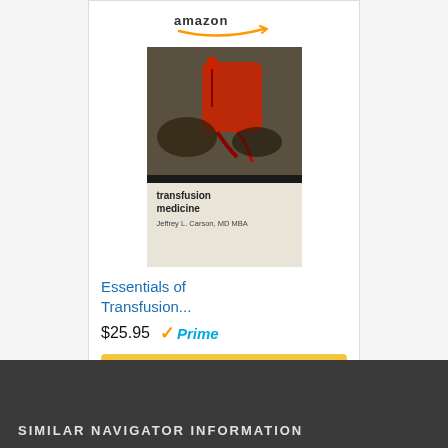[Figure (screenshot): Amazon product listing screenshot showing 'Essentials of Transfusion...' book with price $25.95, Prime badge, and Shop now button]
SIMILAR NAVIGATOR INFORMATION